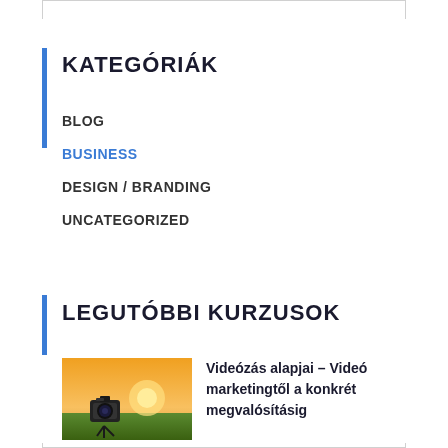KATEGÓRIÁK
BLOG
BUSINESS
DESIGN / BRANDING
UNCATEGORIZED
LEGUTÓBBI KURZUSOK
[Figure (photo): Camera on tripod at sunset, used as course thumbnail for video marketing course]
Videózás alapjai – Videó marketingtől a konkrét megvalósításig